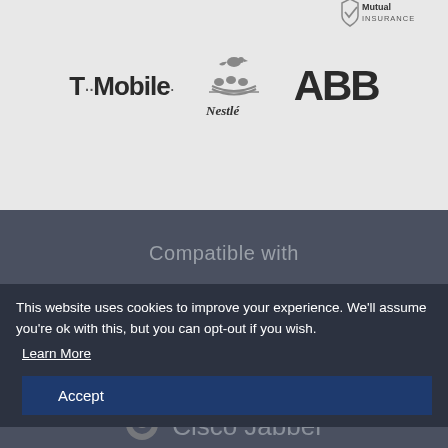[Figure (logo): Partial Mutual Insurance logo top right]
[Figure (logo): T-Mobile logo]
[Figure (logo): Nestlé logo]
[Figure (logo): ABB logo]
Compatible with
[Figure (logo): Microsoft Teams logo with T icon]
This website uses cookies to improve your experience. We'll assume you're ok with this, but you can opt-out if you wish.
Learn More
Accept
[Figure (logo): Cisco Jabber logo partial at bottom]